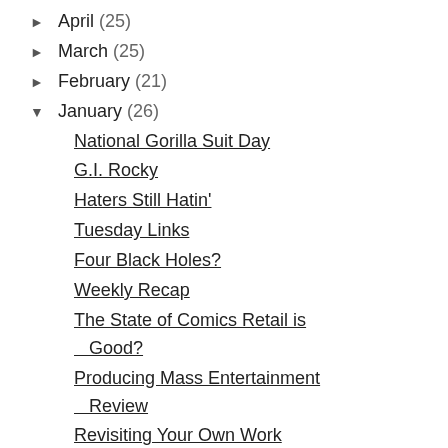► April (25)
► March (25)
► February (21)
▼ January (26)
National Gorilla Suit Day
G.I. Rocky
Haters Still Hatin'
Tuesday Links
Four Black Holes?
Weekly Recap
The State of Comics Retail is Good?
Producing Mass Entertainment Review
Revisiting Your Own Work
Born Dead Review
Martin Luther King Jr. Go...